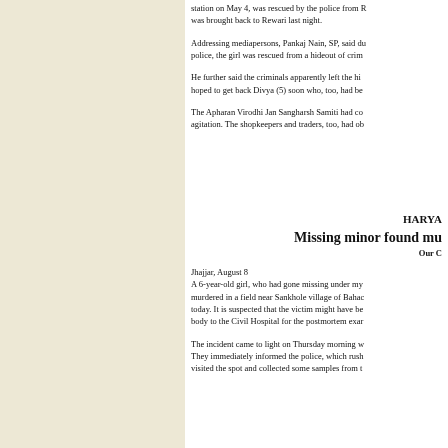station on May 4, was rescued by the police from R. was brought back to Rewari last night.
Addressing mediapersons, Pankaj Nain, SP, said du police, the girl was rescued from a hideout of crim...
He further said the criminals apparently left the hi... hoped to get back Divya (5) soon who, too, had be...
The Apharan Virodhi Jan Sangharsh Samiti had co... agitation. The shopkeepers and traders, too, had ob...
HARYA
Missing minor found mu
Our C
Jhajjar, August 8
A 6-year-old girl, who had gone missing under my... murdered in a field near Sankhole village of Bahac... today. It is suspected that the victim might have be... body to the Civil Hospital for the postmortem exam...
The incident came to light on Thursday morning w... They immediately informed the police, which rush... visited the spot and collected some samples from t...